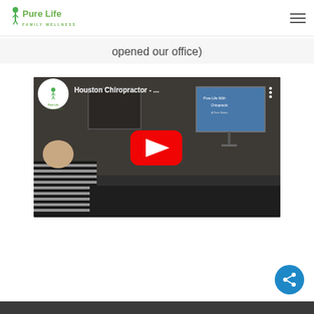[Figure (logo): Pure Life Family Wellness logo — stylized green and yellow text with a small figure icon]
opened our office)
[Figure (screenshot): YouTube video embed thumbnail showing a man in a striped shirt seated in an office with a presentation screen visible. The video is titled 'Houston Chiropractor - ...' with the Pure Life Family Wellness channel logo visible. A red YouTube play button is in the center.]